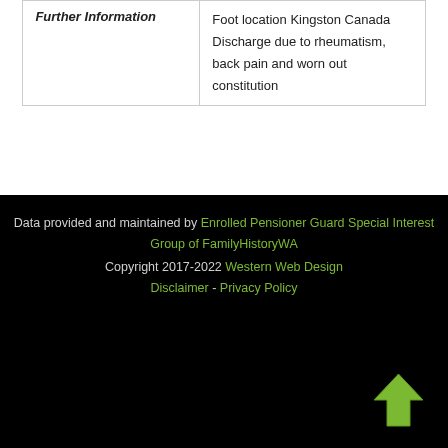| Further Information | Foot location Kingston Canada Discharge due to rheumatism, back pain and worn out constitution |
Data provided and maintained by Enrolled Pensioner Guard Special Interest Group of FamilyHistoryWA Copyright 2017-2022 Western Web Design Disclaimer - Privacy Policy